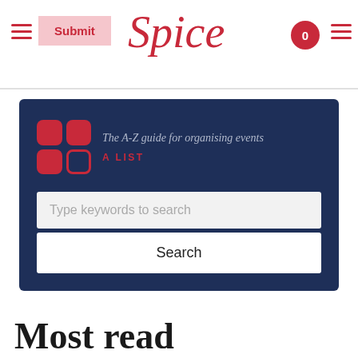Spice — Submit
[Figure (screenshot): A-List logo with four rounded squares in a 2x2 grid (red filled and outlined) and tagline 'The A-Z guide for organising events' on dark navy background with search bar]
Most read